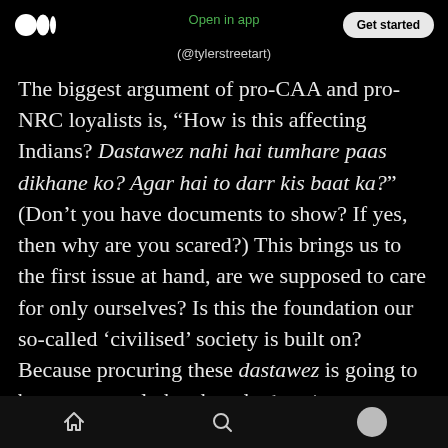Open in app | Get started
(@tylerstreetart)
The biggest argument of pro-CAA and pro-NRC loyalists is, “How is this affecting Indians? Dastawez nahi hai tumhare paas dikhane ko? Agar hai to darr kis baat ka?” (Don’t you have documents to show? If yes, then why are you scared?) This brings us to the first issue at hand, are we supposed to care for only ourselves? Is this the foundation our so-called ‘civilised’ society is built on? Because procuring these dastawez is going to be an extremely harsh and exhausting predicament, not only for all those
Home | Search | Profile